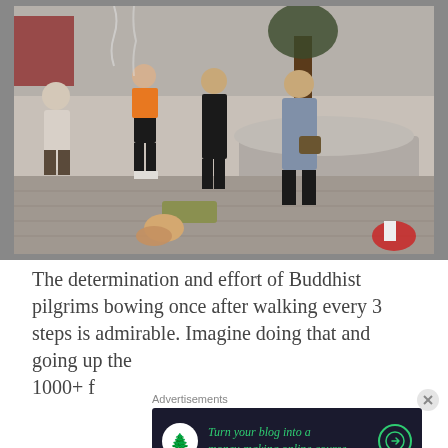[Figure (photo): Outdoor scene at a Buddhist temple courtyard. Several people visible from behind, standing and praying. One pilgrim is fully prostrated (bowed down on the ground) wearing orange and olive/tan clothing. A stone circular platform or well is visible in the background with a tree. Various visitors in casual clothing. Stone paving on the ground.]
The determination and effort of Buddhist pilgrims bowing once after walking every 3 steps is admirable. Imagine doing that and going up the 1000+ feet...
Advertisements
[Figure (infographic): Advertisement banner: dark navy background with a white circular icon showing a tree/bonsai symbol, green italic text reading 'Turn your blog into a money-making online course.' with a green arrow button on the right.]